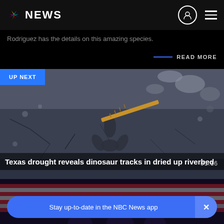NBC NEWS
Rodriguez has the details on this amazing species.
READ MORE
[Figure (photo): Dinosaur track in dried cracked riverbed with a ruler for scale, rocky terrain visible]
UP NEXT
Texas drought reveals dinosaur tracks in dried up riverbed
01:16
[Figure (photo): Partial view of people in front of an American flag]
Stay up-to-date in the NBC News app